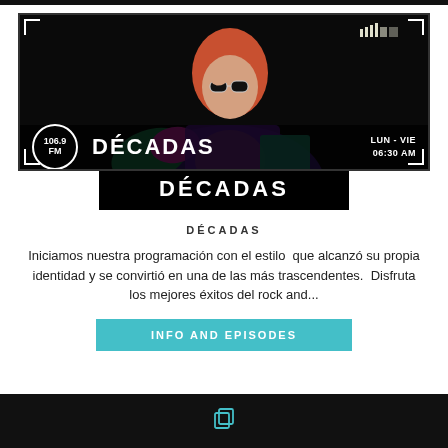[Figure (photo): Radio show promo image for DÉCADAS on 106.9 FM showing a woman with colorful retro jacket and sunglasses on black background. Shows frequency 106.9 FM, show name DÉCADAS, and schedule LUN-VIE 06:30 AM with decorative corner brackets and signal bar icons.]
DÉCADAS
DÉCADAS
Iniciamos nuestra programación con el estilo  que alcanzó su propia identidad y se convirtió en una de las más trascendentes.  Disfruta los mejores éxitos del rock and...
INFO AND EPISODES
[Figure (logo): Copy/duplicate icon in teal/cyan color in footer]